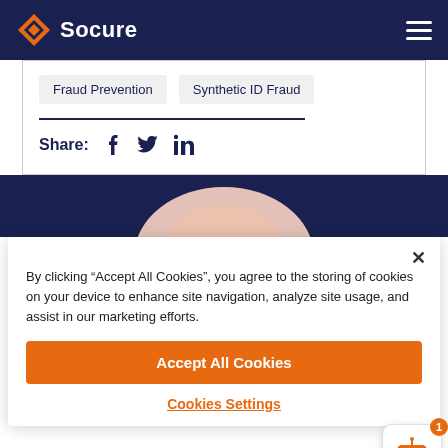Socure
Fraud Prevention
Synthetic ID Fraud
Share:
[Figure (photo): Dark navy background with partial circular light shape at bottom center — likely a profile image or decorative element]
By clicking “Accept All Cookies”, you agree to the storing of cookies on your device to enhance site navigation, analyze site usage, and assist in our marketing efforts.
Accept All Cookies
Cookies Settings